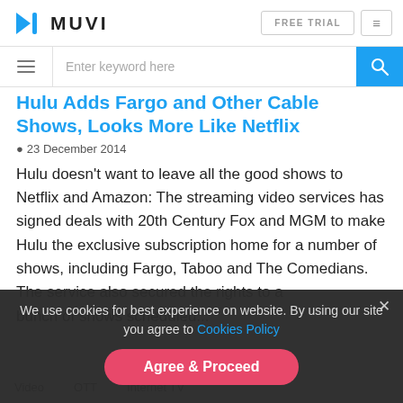[Figure (logo): MUVI logo with blue arrow/check icon and bold MUVI text]
FREE TRIAL  ≡
Enter keyword here
Hulu Adds Fargo and Other Cable Shows, Looks More Like Netflix
23 December 2014
Hulu doesn't want to leave all the good shows to Netflix and Amazon: The streaming video services has signed deals with 20th Century Fox and MGM to make Hulu the exclusive subscription home for a number of shows, including Fargo, Taboo and The Comedians. The service also secured the rights to a bunch of shows scheduled...
We use cookies for best experience on website. By using our site you agree to Cookies Policy
Agree & Proceed
Video  OTT  Internet TV